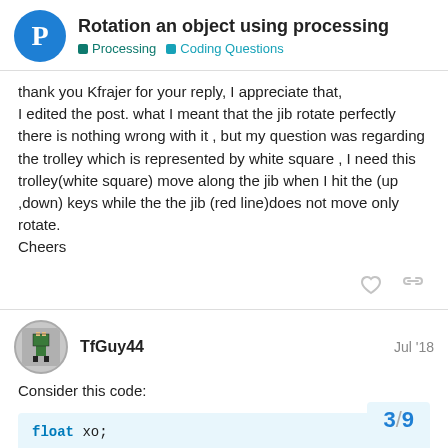Rotation an object using processing — Processing > Coding Questions
thank you Kfrajer for your reply, I appreciate that, I edited the post. what I meant that the jib rotate perfectly there is nothing wrong with it , but my question was regarding the trolley which is represented by white square , I need this trolley(white square) move along the jib when I hit the (up ,down) keys while the the jib (red line)does not move only rotate.
Cheers
TfGuy44  Jul '18
Consider this code:
float xo;
float angle=0;
3 / 9